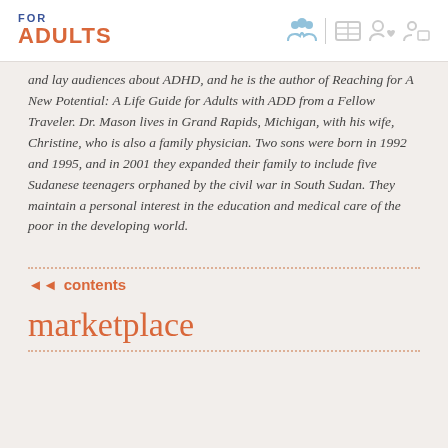FOR ADULTS
and lay audiences about ADHD, and he is the author of Reaching for A New Potential: A Life Guide for Adults with ADD from a Fellow Traveler. Dr. Mason lives in Grand Rapids, Michigan, with his wife, Christine, who is also a family physician. Two sons were born in 1992 and 1995, and in 2001 they expanded their family to include five Sudanese teenagers orphaned by the civil war in South Sudan. They maintain a personal interest in the education and medical care of the poor in the developing world.
◄◄ contents
marketplace